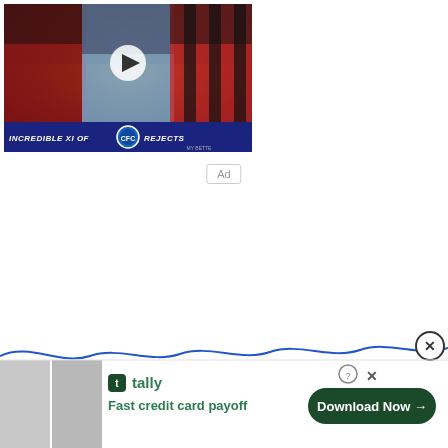[Figure (screenshot): Video thumbnail showing three football players in jerseys (red, light blue, and red/black striped) against a stadium background. Title bar reads INCREDIBLE XI OF CHELSEA REJECTS with Chelsea FC badge. A play button triangle is visible in the center.]
Ad
[Figure (screenshot): Bottom advertisement banner for Tally app. Shows Tally logo with text 'Fast credit card payoff' and a 'Download Now' button with arrow. Question mark and X close controls in top right. A wavy blue line separator appears above with an X close button.]